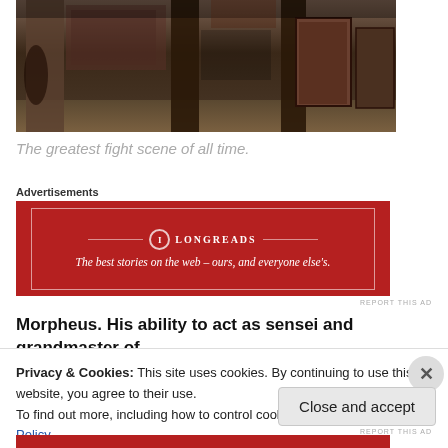[Figure (photo): Dark industrial space with graffiti-covered concrete pillars and metal doors, dark interior, concrete floor]
The greatest fight scene of all time.
Advertisements
[Figure (other): Longreads advertisement banner - red background with white border, logo and tagline: 'The best stories on the web — ours, and everyone else's.']
REPORT THIS AD
Morpheus. His ability to act as sensei and grandmaster of
Privacy & Cookies: This site uses cookies. By continuing to use this website, you agree to their use.
To find out more, including how to control cookies, see here: Cookie Policy
Close and accept